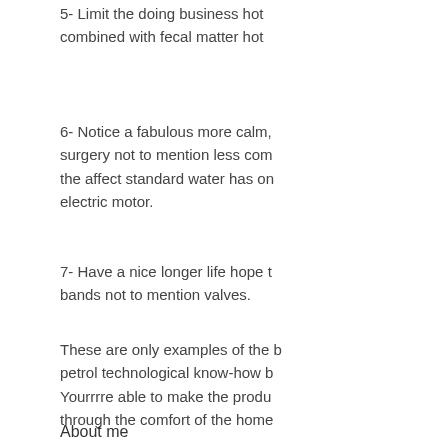5- Limit the doing business hot combined with fecal matter hot
6- Notice a fabulous more calm, surgery not to mention less com the affect standard water has on electric motor.
7- Have a nice longer life hope t bands not to mention valves.
These are only examples of the b petrol technological know-how b Yourrrre able to make the produ through the comfort of the home
About me